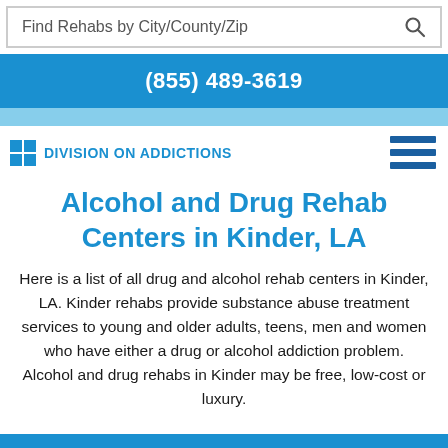Find Rehabs by City/County/Zip
(855) 489-3619
Division On Addictions
Alcohol and Drug Rehab Centers in Kinder, LA
Here is a list of all drug and alcohol rehab centers in Kinder, LA. Kinder rehabs provide substance abuse treatment services to young and older adults, teens, men and women who have either a drug or alcohol addiction problem. Alcohol and drug rehabs in Kinder may be free, low-cost or luxury.